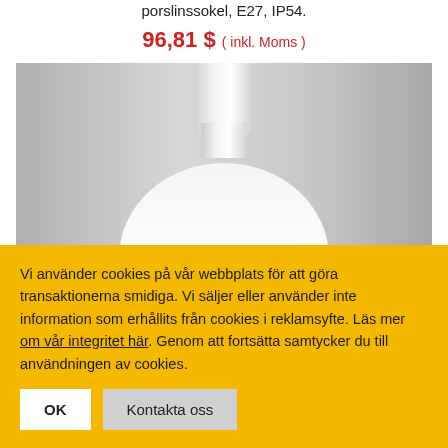porslinssokel, E27, IP54.
96,81 $ ( inkl. Moms )
[Figure (photo): Close-up photo of a white ceramic ceiling lamp with a cylindrical top socket and a round globe-shaped opal glass shade, shown against a grey background.]
Vi använder cookies på vår webbplats för att göra transaktionerna smidiga. Vi säljer eller använder inte information som erhållits från cookies i reklamsyfte. Läs mer om vår integritet här. Genom att fortsätta samtycker du till användningen av cookies.